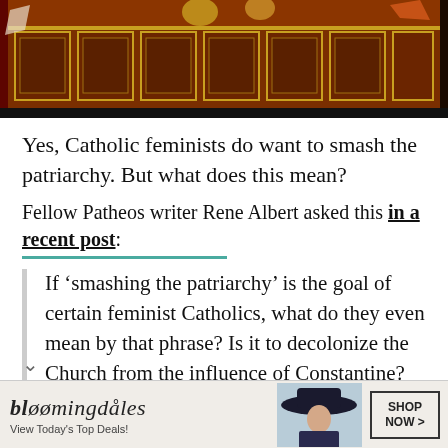[Figure (photo): Partial view of a medieval-style artwork with ornate decorative wooden or carved panels in brown/red tones with geometric patterns, gold border visible at top.]
Yes, Catholic feminists do want to smash the patriarchy. But what does this mean?
Fellow Patheos writer Rene Albert asked this in a recent post:
If ‘smashing the patriarchy’ is the goal of certain feminist Catholics, what do they even mean by that phrase? Is it to decolonize the Church from the influence of Constantine? Or
[Figure (screenshot): Bloomingdale's advertisement banner: 'bloomingdales - View Today’s Top Deals!' with image of woman in hat and 'SHOP NOW >' button.]